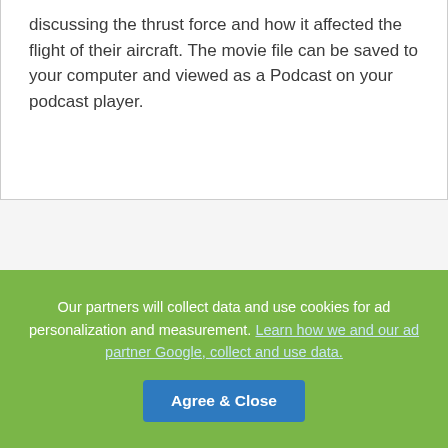discussing the thrust force and how it affected the flight of their aircraft. The movie file can be saved to your computer and viewed as a Podcast on your podcast player.
Our partners will collect data and use cookies for ad personalization and measurement. Learn how we and our ad partner Google, collect and use data.